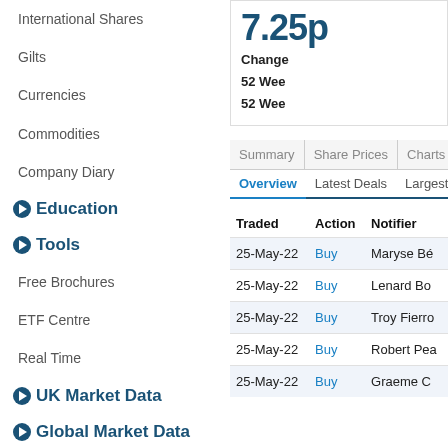International Shares
Gilts
Currencies
Commodities
Company Diary
Education
Tools
Free Brochures
ETF Centre
Real Time
UK Market Data
Global Market Data
7.25p
Change
52 Wee
52 Wee
| Summary | Share Prices | Charts | Trades |
| --- | --- | --- | --- |
| Traded | Action | Notifier |
| --- | --- | --- |
| 25-May-22 | Buy | Maryse Bé |
| 25-May-22 | Buy | Lenard Bo |
| 25-May-22 | Buy | Troy Fierro |
| 25-May-22 | Buy | Robert Pea |
| 25-May-22 | Buy | Graeme C |